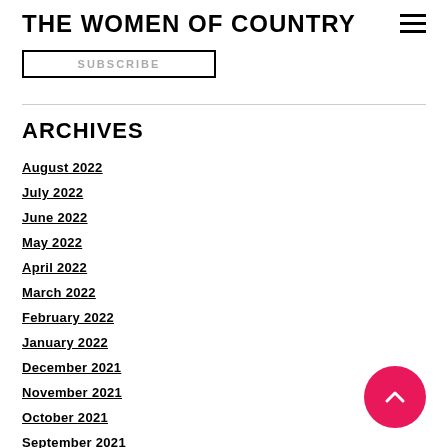THE WOMEN OF COUNTRY
SUBSCRIBE
ARCHIVES
August 2022
July 2022
June 2022
May 2022
April 2022
March 2022
February 2022
January 2022
December 2021
November 2021
October 2021
September 2021